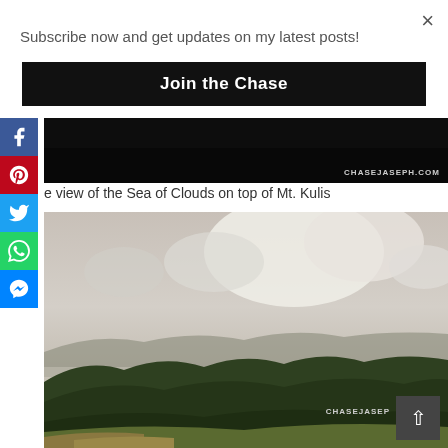×
Subscribe now and get updates on my latest posts!
Join the Chase
[Figure (photo): Dark/night mountain photo with CHASEJASEPH.COM watermark]
e view of the Sea of Clouds on top of Mt. Kulis
[Figure (photo): Landscape photo of green hills with sea of clouds and dramatic cloudy sky, watermark CHASEJASEP]